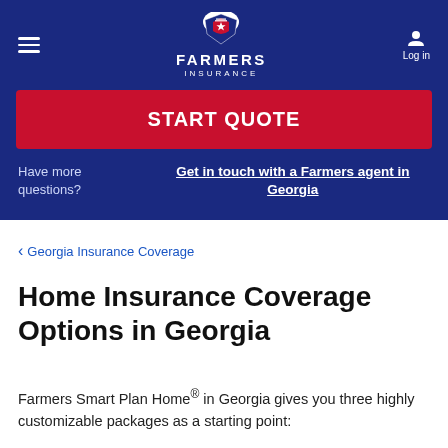FARMERS INSURANCE
START QUOTE
Have more questions? Get in touch with a Farmers agent in Georgia
< Georgia Insurance Coverage
Home Insurance Coverage Options in Georgia
Farmers Smart Plan Home® in Georgia gives you three highly customizable packages as a starting point: